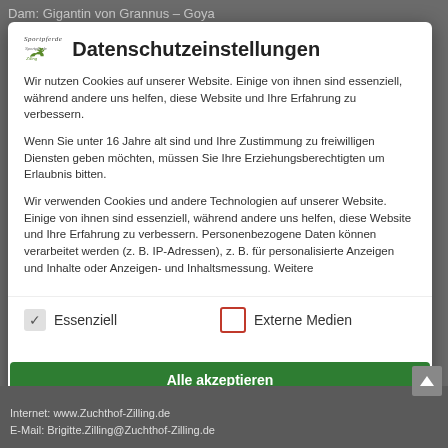Dam: Gigantin von Grannus – Goya
Datenschutzeinstellungen
Wir nutzen Cookies auf unserer Website. Einige von ihnen sind essenziell, während andere uns helfen, diese Website und Ihre Erfahrung zu verbessern.
Wenn Sie unter 16 Jahre alt sind und Ihre Zustimmung zu freiwilligen Diensten geben möchten, müssen Sie Ihre Erziehungsberechtigten um Erlaubnis bitten.
Wir verwenden Cookies und andere Technologien auf unserer Website. Einige von ihnen sind essenziell, während andere uns helfen, diese Website und Ihre Erfahrung zu verbessern. Personenbezogene Daten können verarbeitet werden (z. B. IP-Adressen), z. B. für personalisierte Anzeigen und Inhalte oder Anzeigen- und Inhaltsmessung. Weitere
Essenziell
Externe Medien
Alle akzeptieren
Internet: www.Zuchthof-Zilling.de
E-Mail: Brigitte.Zilling@Zuchthof-Zilling.de